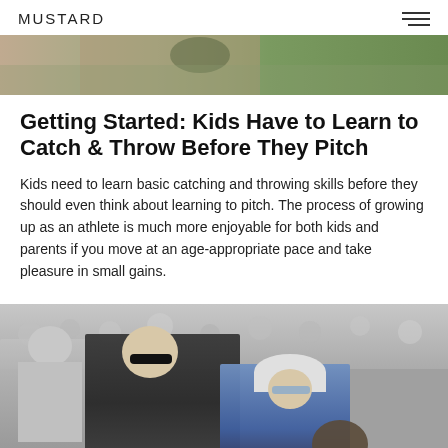MUSTARD
[Figure (photo): Partial photo of a person outdoors on a green field, cropped at the top of the page]
Getting Started: Kids Have to Learn to Catch & Throw Before They Pitch
Kids need to learn basic catching and throwing skills before they should even think about learning to pitch. The process of growing up as an athlete is much more enjoyable for both kids and parents if you move at an age-appropriate pace and take pleasure in small gains.
[Figure (photo): Black and white photo of an adult coach helping a young kid in a baseball cap hold a glove, with another adult in the background and crowd behind them]